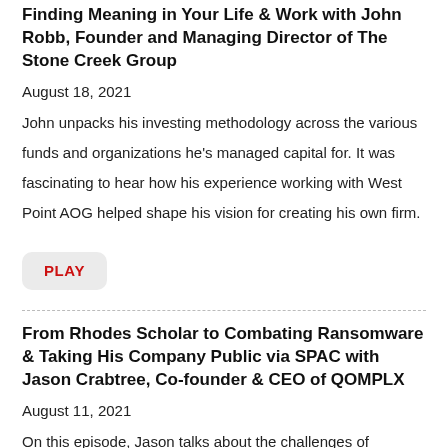Finding Meaning in Your Life & Work with John Robb, Founder and Managing Director of The Stone Creek Group
August 18, 2021
John unpacks his investing methodology across the various funds and organizations he's managed capital for. It was fascinating to hear how his experience working with West Point AOG helped shape his vision for creating his own firm.
PLAY
From Rhodes Scholar to Combating Ransomware & Taking His Company Public via SPAC with Jason Crabtree, Co-founder & CEO of QOMPLX
August 11, 2021
On this episode, Jason talks about the challenges of preparing to take QOMPLX public via SPAC, how to 'be your own enemy' and improve your ideas, plans, and teams by seeing them from the other side of the board, and the many leadership lessons he